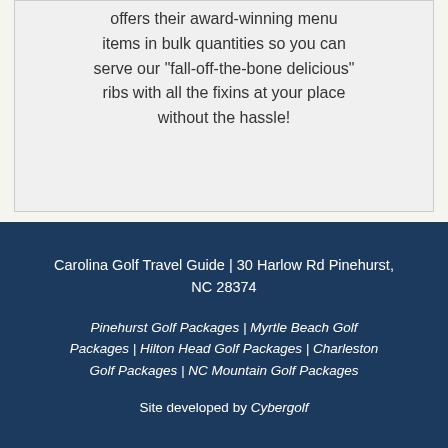offers their award-winning menu items in bulk quantities so you can serve our "fall-off-the-bone delicious" ribs with all the fixins at your place without the hassle!
Carolina Golf Travel Guide | 30 Harlow Rd Pinehurst, NC 28374
Pinehurst Golf Packages | Myrtle Beach Golf Packages | Hilton Head Golf Packages | Charleston Golf Packages | NC Mountain Golf Packages
Site developed by Cybergolf